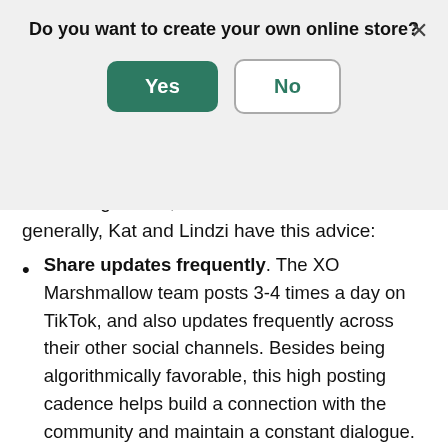Do you want to create your own online store?
Yes | No (modal dialog buttons)
embracing TikTok, and social media more generally, Kat and Lindzi have this advice:
Share updates frequently. The XO Marshmallow team posts 3-4 times a day on TikTok, and also updates frequently across their other social channels. Besides being algorithmically favorable, this high posting cadence helps build a connection with the community and maintain a constant dialogue.
Be open and honest. Much of the content that XO Marshmallow creates on TikTok is